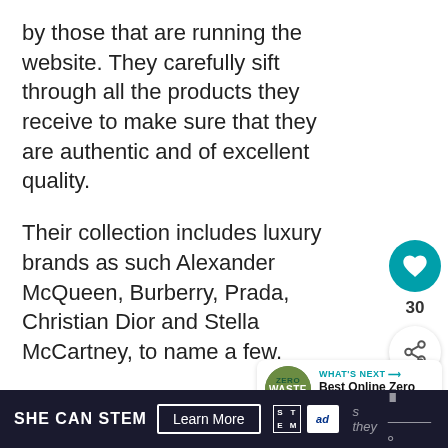by those that are running the website. They carefully sift through all the products they receive to make sure that they are authentic and of excellent quality.
Their collection includes luxury brands as such Alexander McQueen, Burberry, Prada, Christian Dior and Stella McCartney, to name a few.
Pros:
You can get great deals on designer goods
[Figure (infographic): What's Next banner with Zero Waste circular logo image and text 'WHAT'S NEXT → Best Online Zero Waste...']
SHE CAN STEM  Learn More  [ad council logo]  s they